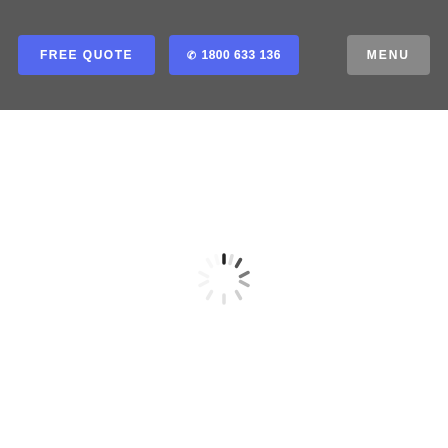FREE QUOTE  | 1800 633 136 | MENU
[Figure (other): Loading spinner (animated loading indicator) centered in white content area below the navigation header]